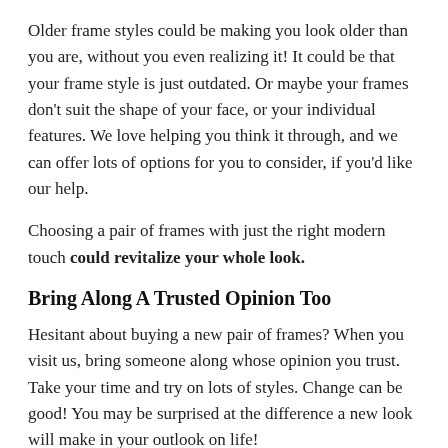Older frame styles could be making you look older than you are, without you even realizing it! It could be that your frame style is just outdated. Or maybe your frames don't suit the shape of your face, or your individual features. We love helping you think it through, and we can offer lots of options for you to consider, if you'd like our help.
Choosing a pair of frames with just the right modern touch could revitalize your whole look.
Bring Along A Trusted Opinion Too
Hesitant about buying a new pair of frames? When you visit us, bring someone along whose opinion you trust. Take your time and try on lots of styles. Change can be good! You may be surprised at the difference a new look will make in your outlook on life!